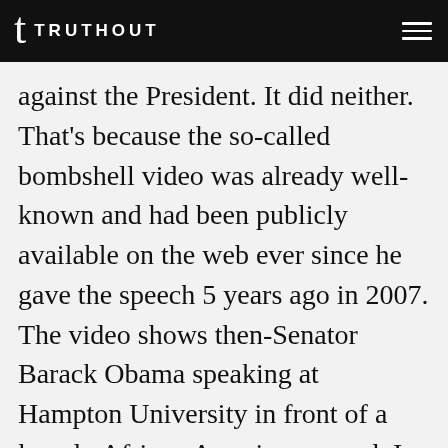TRUTHOUT
against the President. It did neither. That's because the so-called bombshell video was already well-known and had been publicly available on the web ever since he gave the speech 5 years ago in 2007. The video shows then-Senator Barack Obama speaking at Hampton University in front of a largely African American crowd. In the speech, Obama accurately pointed out that when Hurricane Andrew hit mostly-white parts of Florida, the federal government waived the requirement for